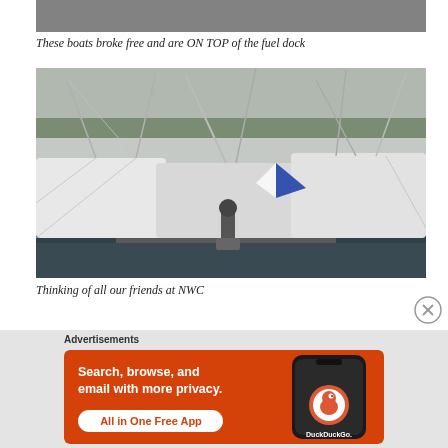[Figure (photo): Partial top edge of a marina/boats photo cropped at the top of the page]
These boats broke free and are ON TOP of the fuel dock
[Figure (photo): Sailboats and motorboats tangled together at a marina dock, masts leaning, boats piled on top of each other, overcast sky, water visible between hulls]
Thinking of all our friends at NWC
Advertisements
[Figure (screenshot): DuckDuckGo advertisement banner: orange background with white bold text 'Search, browse, and email with more privacy. All in One Free App' button, and a smartphone showing DuckDuckGo logo on screen]